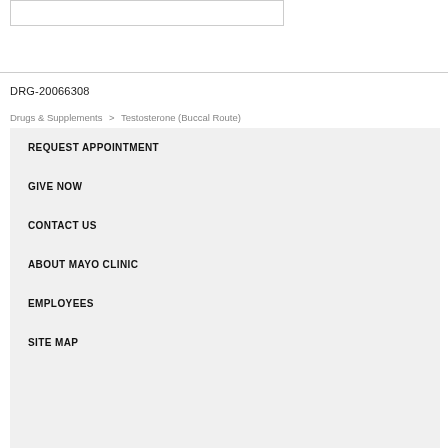[Figure (other): Empty white box with border at top of page]
DRG-20066308
Drugs & Supplements  >  Testosterone (Buccal Route)
REQUEST APPOINTMENT
GIVE NOW
CONTACT US
ABOUT MAYO CLINIC
EMPLOYEES
SITE MAP